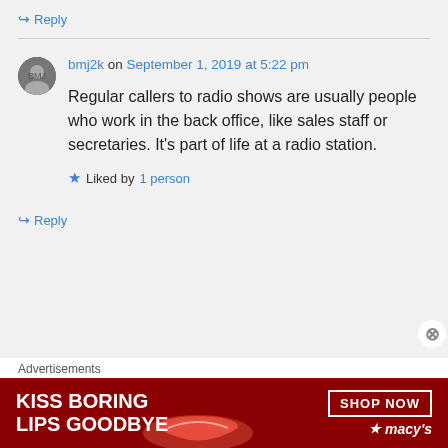↪ Reply
bmj2k on September 1, 2019 at 5:22 pm
Regular callers to radio shows are usually people who work in the back office, like sales staff or secretaries. It's part of life at a radio station.
★ Liked by 1 person
↪ Reply
Advertisements
[Figure (illustration): Macy's advertisement banner with red background, woman's face with red lips, text 'KISS BORING LIPS GOODBYE', 'SHOP NOW' button, and Macy's star logo]